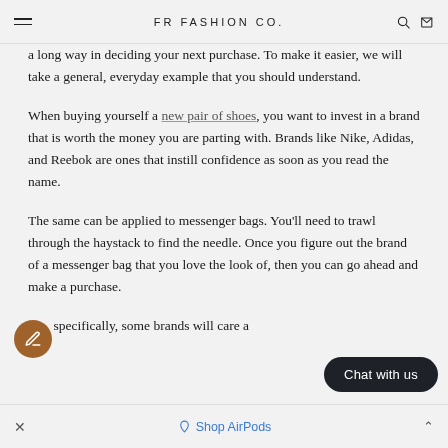FR FASHION CO.
a long way in deciding your next purchase. To make it easier, we will take a general, everyday example that you should understand.
When buying yourself a new pair of shoes, you want to invest in a brand that is worth the money you are parting with. Brands like Nike, Adidas, and Reebok are ones that instill confidence as soon as you read the name.
The same can be applied to messenger bags. You'll need to trawl through the haystack to find the needle. Once you figure out the brand of a messenger bag that you love the look of, then you can go ahead and make a purchase.
More specifically, some brands will care a… than others, but it is hard to tell…
× Shop AirPods ^